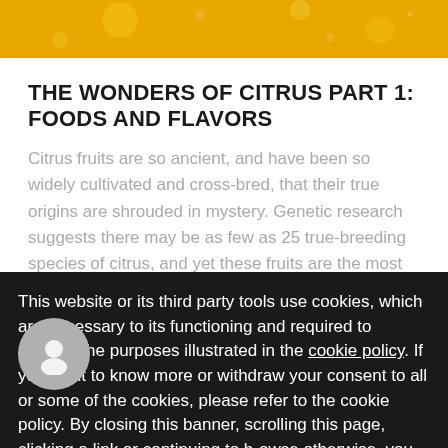[Figure (photo): Yellow/golden citrus background image at top of page]
THE WONDERS OF CITRUS PART 1: FOODS AND FLAVORS
Citrus fruits are so ancient, and have been so widely cultivated and cross-bred, that their true origins are shrouded in mystery. Genetic research suggests there may be as few as 25 true-breeding species of citrus, and yet these fruits are the most important crop in the world, impacting every aspect...
This website or its third party tools use cookies, which are necessary to its functioning and required to achieve the purposes illustrated in the cookie policy. If you want to know more or withdraw your consent to all or some of the cookies, please refer to the cookie policy. By closing this banner, scrolling this page, clicking a link or continuing to browse otherwise, you agree to the use of cookies. cookie settings Accept Cookies